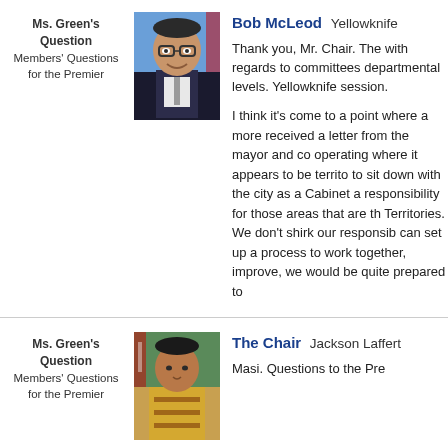Ms. Green's Question
Members' Questions for the Premier
[Figure (photo): Photo of Bob McLeod, a man in a suit with glasses, smiling, Canadian flag in background]
Bob McLeod Yellowknife
Thank you, Mr. Chair. The with regards to committees departmental levels. Yellowknife session.

I think it's come to a point where a more received a letter from the mayor and co operating where it appears to be territo to sit down with the city as a Cabinet a responsibility for those areas that are th Territories. We don't shirk our responsib can set up a process to work together, improve, we would be quite prepared to
Ms. Green's Question
Members' Questions for the Premier
[Figure (photo): Photo of The Chair Jackson Lafferty, a man in traditional Indigenous attire with a Canadian flag in background]
The Chair Jackson Laffert
Masi. Questions to the Pre